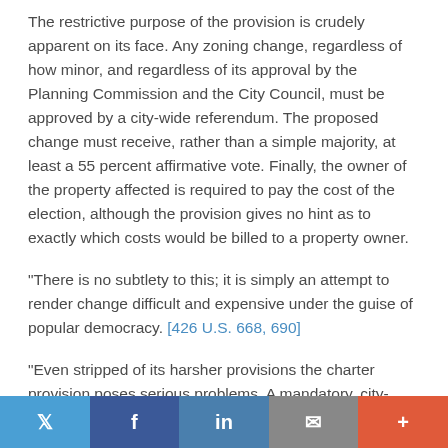The restrictive purpose of the provision is crudely apparent on its face. Any zoning change, regardless of how minor, and regardless of its approval by the Planning Commission and the City Council, must be approved by a city-wide referendum. The proposed change must receive, rather than a simple majority, at least a 55 percent affirmative vote. Finally, the owner of the property affected is required to pay the cost of the election, although the provision gives no hint as to exactly which costs would be billed to a property owner.
"There is no subtlety to this; it is simply an attempt to render change difficult and expensive under the guise of popular democracy. [426 U.S. 668, 690]
"Even stripped of its harsher provisions the charter provision poses serious problems. A mandatory, city-wide
Twitter | Facebook | LinkedIn | Email | More